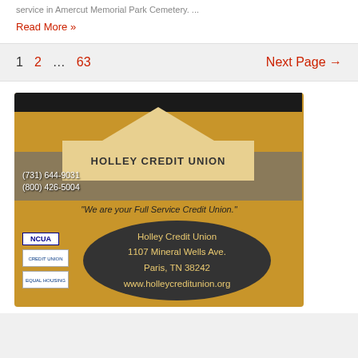service in Amercut Memorial Park Cemetery. ...
Read More »
1  2  ...  63  Next Page →
[Figure (photo): Holley Credit Union building exterior with phone numbers (731) 644-9031 and (800) 426-5004, tagline 'We are your Full Service Credit Union.', address: Holley Credit Union, 1107 Mineral Wells Ave., Paris, TN 38242, www.holleycreditunion.org]